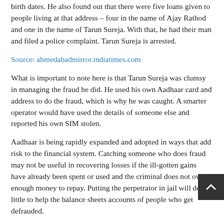birth dates. He also found out that there were five loans given to people living at that address – four in the name of Ajay Rathod and one in the name of Tarun Sureja. With that, he had their man and filed a police complaint. Tarun Sureja is arrested.
Source: ahmedabadmirror.indiatimes.com
What is important to note here is that Tarun Sureja was clumsy in managing the fraud he did. He used his own Aadhaar card and address to do the fraud, which is why he was caught. A smarter operator would have used the details of someone else and reported his own SIM stolen.
Aadhaar is being rapidly expanded and adopted in ways that add risk to the financial system. Catching someone who does fraud may not be useful in recovering losses if the ill-gotten gains have already been spent or used and the criminal does not own enough money to repay. Putting the perpetrator in jail will do little to help the balance sheets accounts of people who get defrauded.
There is an urgent need to remove the trust invested in the